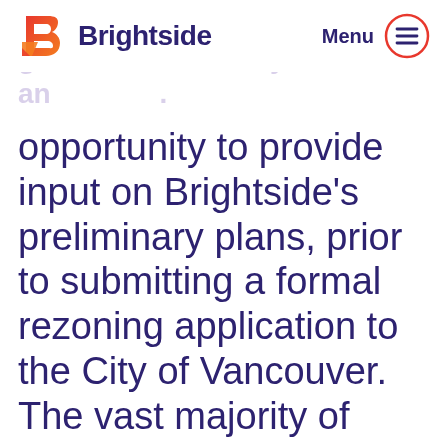Brightside — Menu
Application Open House to give the Community an opportunity to provide input on Brightside's preliminary plans, prior to submitting a formal rezoning application to the City of Vancouver.
The vast majority of engagement participants